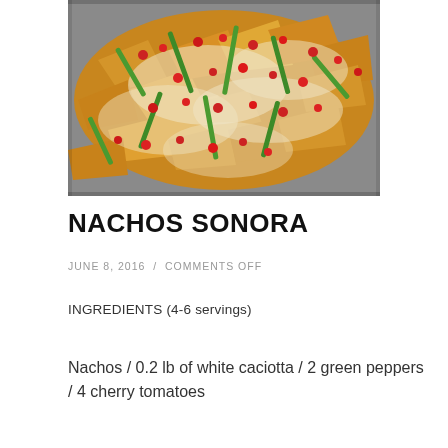[Figure (photo): Close-up photo of nachos topped with melted white cheese, sliced green peppers, and chopped red cherry tomatoes on a baking tray]
NACHOS SONORA
JUNE 8, 2016 / COMMENTS OFF
INGREDIENTS (4-6 servings)
Nachos / 0.2 lb of white caciotta / 2 green peppers / 4 cherry tomatoes